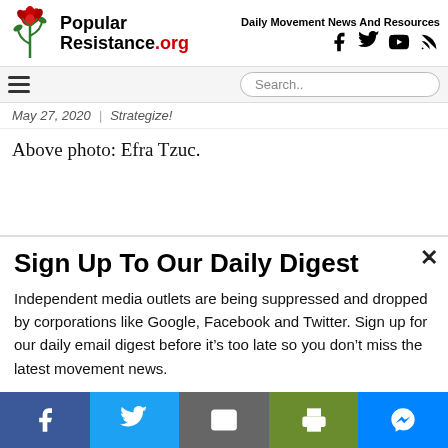Popular Resistance.org | Daily Movement News And Resources
May 27, 2020 | Strategize!
Above photo: Efra Tzuc.
Sign Up To Our Daily Digest
Independent media outlets are being suppressed and dropped by corporations like Google, Facebook and Twitter. Sign up for our daily email digest before it’s too late so you don’t miss the latest movement news.
Social share bar: Facebook, Twitter, Email, Print, Messenger